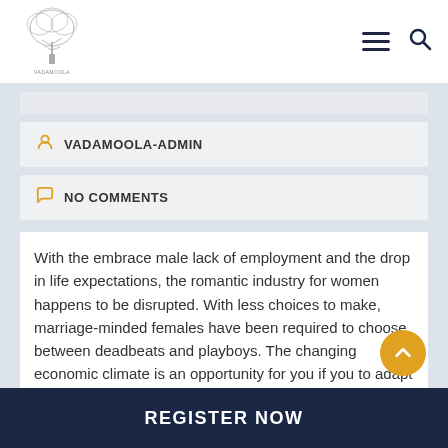[Figure (logo): Vadamoola tree logo illustration]
VADAMOOLA-ADMIN
NO COMMENTS
With the embrace male lack of employment and the drop in life expectations, the romantic industry for women happens to be disrupted. With less choices to make, marriage-minded females have been required to choose between deadbeats and playboys. The changing economic climate is an opportunity for you if you to adapt to new
REGISTER NOW